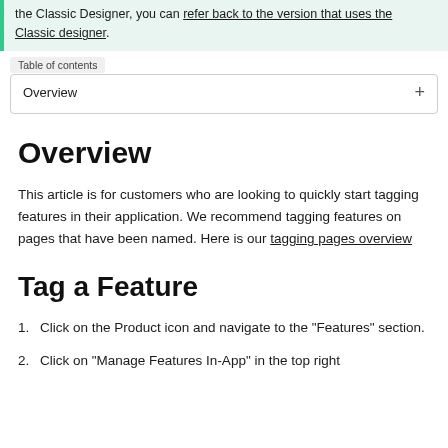the Classic Designer, you can refer back to the version that uses the Classic designer.
Table of contents
Overview +
Overview
This article is for customers who are looking to quickly start tagging features in their application. We recommend tagging features on pages that have been named. Here is our tagging pages overview
Tag a Feature
Click on the Product icon and navigate to the "Features" section.
Click on "Manage Features In-App" in the top right